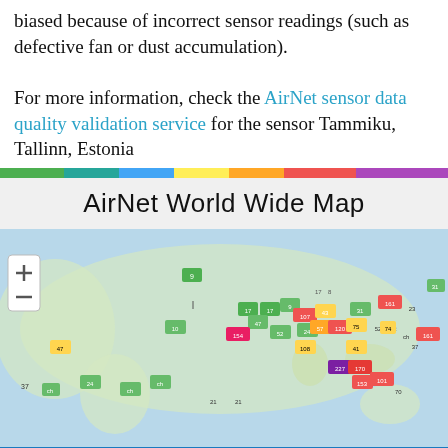biased because of incorrect sensor readings (such as defective fan or dust accumulation). For more information, check the AirNet sensor data quality validation service for the sensor Tammiku, Tallinn, Estonia
[Figure (infographic): Horizontal color bar with segments: green, teal, blue, yellow, orange, red, purple]
AirNet World Wide Map
[Figure (map): World map screenshot showing AirNet sensor locations with colored marker pins displaying PM2.5 values. Map has zoom +/- controls in top left. Sensors are concentrated over Europe and Asia with various colored markers (green, yellow, orange, red, purple) indicating air quality levels ranging from single digits to 227.]
[Figure (screenshot): Bottom navigation bar with 9 icons on blue background: home, location pin, globe, face mask, FAQ speech bubble, search, person, link, settings gear]